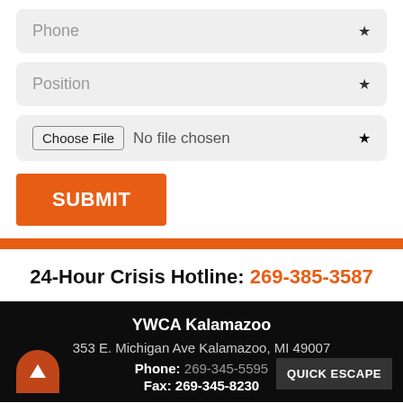Phone *
Position *
Choose File  No file chosen *
SUBMIT
24-Hour Crisis Hotline: 269-385-3587
YWCA Kalamazoo
353 E. Michigan Ave Kalamazoo, MI 49007
Phone: 269-345-5595
Fax: 269-345-8230
QUICK ESCAPE